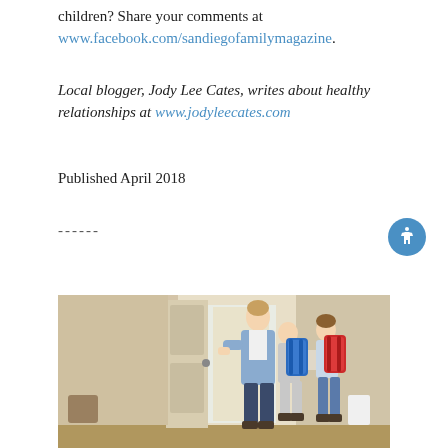children? Share your comments at www.facebook.com/sandiegofamilymagazine.
Local blogger, Jody Lee Cates, writes about healthy relationships at www.jodyleecates.com
Published April 2018
------
[Figure (photo): A woman with two children wearing backpacks standing at an open front door, appearing to be heading out to school.]